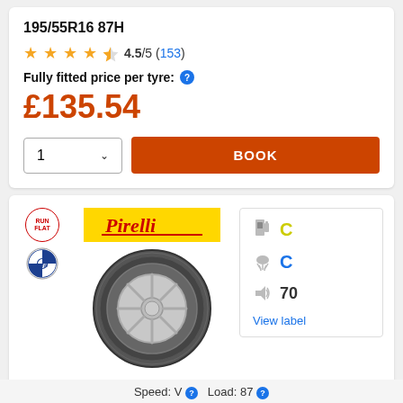195/55R16 87H
4.5/5 (153)
Fully fitted price per tyre:
£135.54
[Figure (infographic): Pirelli tyre product card with RUN FLAT badge, BMW badge, Pirelli logo, tyre image, and efficiency ratings: fuel C, wet grip C, noise 70]
Speed: V  Load: 87